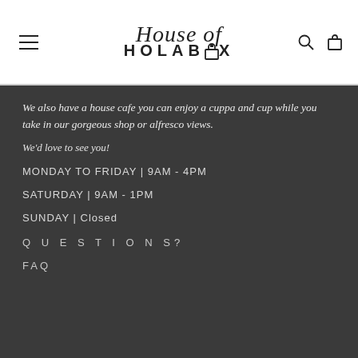House of HOLABOX
We also have a house cafe you can enjoy a cuppa and cup while you take in our gorgeous shop or alfresco views.
We'd love to see you!
MONDAY TO FRIDAY | 9AM - 4PM
SATURDAY | 9AM - 1PM
SUNDAY | Closed
QUESTIONS?
FAQ